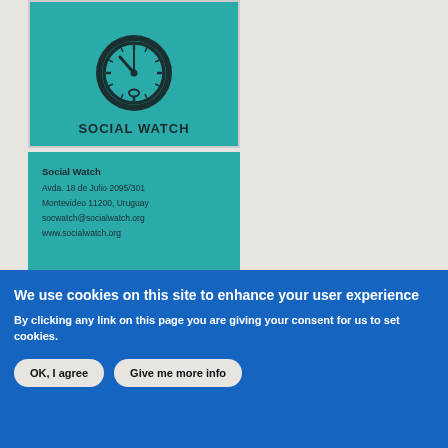[Figure (logo): Social Watch logo: a teal background box with a clock illustration and the text 'SOCIAL WATCH' below it in bold uppercase letters.]
Social Watch
Avda. 18 de Julio 2095/301
Montevideo 11200, Uruguay
socwatch@socialwatch.org
www.socialwatch.org
We use cookies on this site to enhance your user experience
By clicking any link on this page you are giving your consent for us to set cookies.
OK, I agree
Give me more info